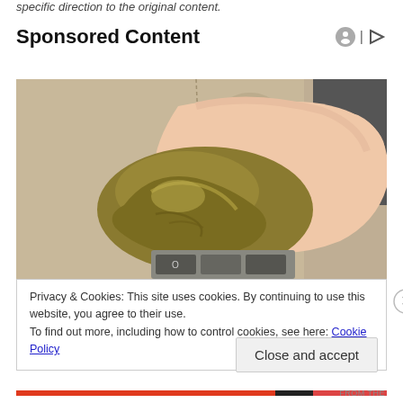specific direction to the original content.
Sponsored Content
[Figure (photo): A hand holding a blob of yellowish-green slime/cleaning gel against a beige car interior with buttons visible at the bottom]
Privacy & Cookies: This site uses cookies. By continuing to use this website, you agree to their use.
To find out more, including how to control cookies, see here: Cookie Policy
Close and accept